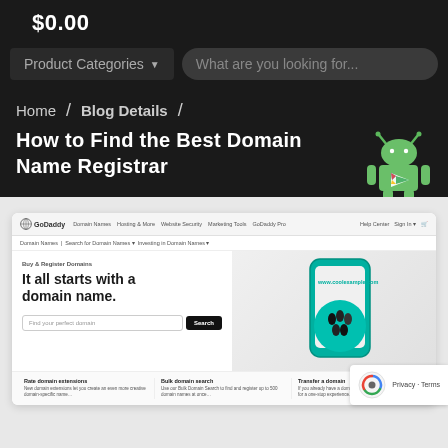$0.00
Product Categories ▾    What are you looking for...
Home / Blog Details /
How to Find the Best Domain Name Registrar
[Figure (screenshot): Screenshot of the GoDaddy website showing the domain name registration page with tagline 'It all starts with a domain name.' and a search field. Includes navigation bar, breadcrumb, and a phone graphic with www.coolexample.com.]
[Figure (illustration): Android robot mascot (green) with a Google Play triangle logo on its chest, positioned in the upper right corner of the content area.]
[Figure (infographic): reCAPTCHA badge with blue/gray logo and 'Privacy - Terms' text, partially visible at lower right of the screenshot.]